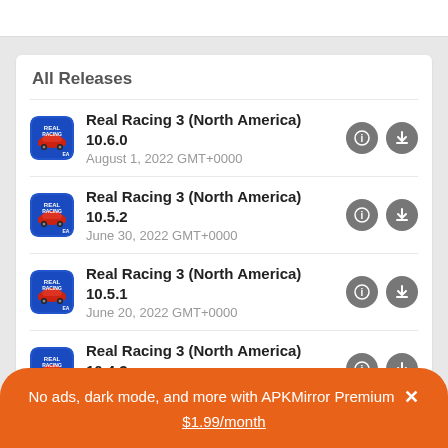All Releases
Real Racing 3 (North America) 10.6.0 — August 1, 2022 GMT+0000
Real Racing 3 (North America) 10.5.2 — June 30, 2022 GMT+0000
Real Racing 3 (North America) 10.5.1 — June 20, 2022 GMT+0000
Real Racing 3 (North America) 10.4.3 — May 16, 2022 GMT+0000
No ads, dark mode, and more with APKMirror Premium × $1.99/month